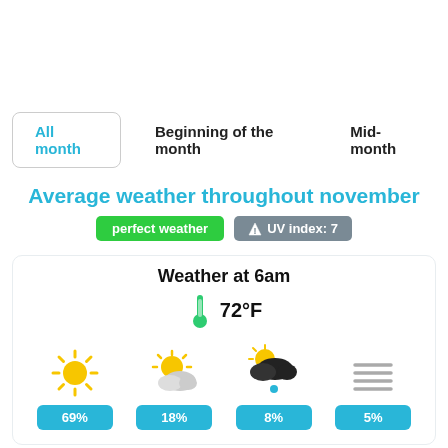All month | Beginning of the month | Mid-month
Average weather throughout november
perfect weather  ⚠ UV index: 7
Weather at 6am
72°F
[Figure (infographic): Four weather condition icons: sunny (69%), partly cloudy (18%), cloudy with rain (8%), haze/fog (5%)]
Weather at 12pm
85°F